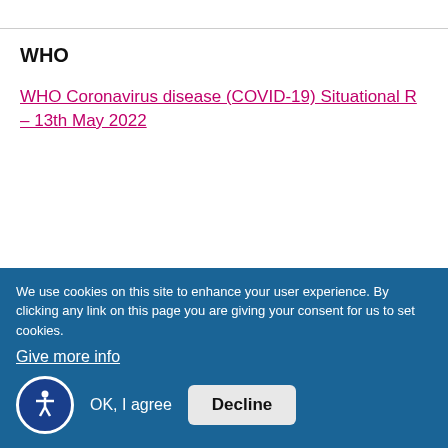WHO
WHO Coronavirus disease (COVID-19) Situational Report – 13th May 2022
Information and Signposting
For up to date health and social care information,
We use cookies on this site to enhance your user experience. By clicking any link on this page you are giving your consent for us to set cookies.
Give more info
OK, I agree
Decline